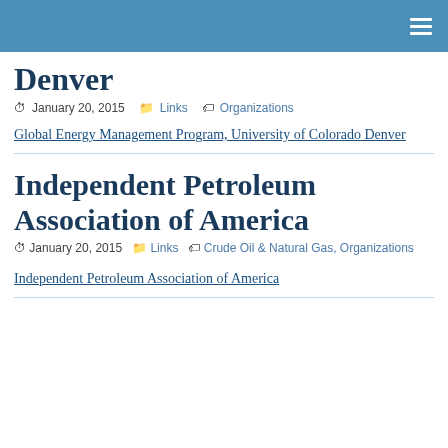Navigation bar with hamburger menu
Denver
January 20, 2015   Links   Organizations
Global Energy Management Program, University of Colorado Denver
Independent Petroleum Association of America
January 20, 2015   Links   Crude Oil & Natural Gas, Organizations
Independent Petroleum Association of America